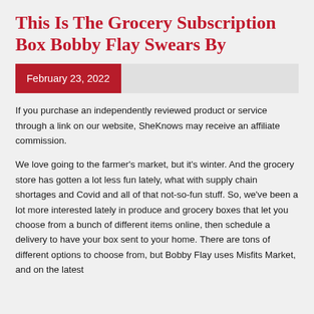This Is The Grocery Subscription Box Bobby Flay Swears By
February 23, 2022
If you purchase an independently reviewed product or service through a link on our website, SheKnows may receive an affiliate commission.
We love going to the farmer's market, but it's winter. And the grocery store has gotten a lot less fun lately, what with supply chain shortages and Covid and all of that not-so-fun stuff. So, we've been a lot more interested lately in produce and grocery boxes that let you choose from a bunch of different items online, then schedule a delivery to have your box sent to your home. There are tons of different options to choose from, but Bobby Flay uses Misfits Market, and on the latest